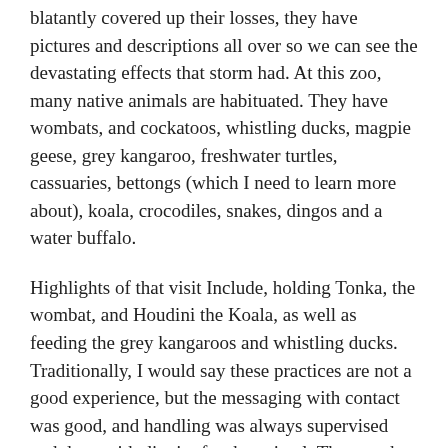blatantly covered up their losses, they have pictures and descriptions all over so we can see the devastating effects that storm had. At this zoo, many native animals are habituated. They have wombats, and cockatoos, whistling ducks, magpie geese, grey kangaroo, freshwater turtles, cassuaries, bettongs (which I need to learn more about), koala, crocodiles, snakes, dingos and a water buffalo.
Highlights of that visit Include, holding Tonka, the wombat, and Houdini the Koala, as well as feeding the grey kangaroos and whistling ducks. Traditionally, I would say these practices are not a good experience, but the messaging with contact was good, and handling was always supervised and done with dignity for the animal. They work closely with the wildlife administration as well so I did not feel quite so skeevy about it.
Katie had to do some work so we parted ways and went back to the hotel for a rest. Sometimes zah time is just as